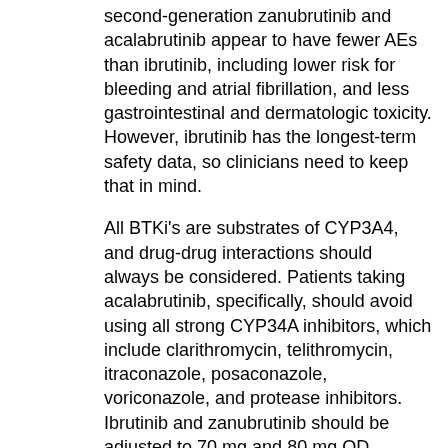second-generation zanubrutinib and acalabrutinib appear to have fewer AEs than ibrutinib, including lower risk for bleeding and atrial fibrillation, and less gastrointestinal and dermatologic toxicity. However, ibrutinib has the longest-term safety data, so clinicians need to keep that in mind.
All BTKi's are substrates of CYP3A4, and drug-drug interactions should always be considered. Patients taking acalabrutinib, specifically, should avoid using all strong CYP34A inhibitors, which include clarithromycin, telithromycin, itraconazole, posaconazole, voriconazole, and protease inhibitors. Ibrutinib and zanubrutinib should be adjusted to 70 mg and 80 mg QD, respectively, in patients taking strong inhibitors. Doses should also be adjusted in those taking moderate inhibitors, which include amiodarone, erythromycin, fluconazole, isavuconazole, amprenavir, fosamprenavir, diltiazem, and verapamil. In these cases, doses should be reduced to 280 mg QD for ibrutinib, 100 mg QD for acalabrutinib, and 80 mg BID for zanubrutinib. In general, zanubrutinib appears to have fewer drug-drug interactions versus ibrutinib and may be preferred in patients who are taking a lot of medications.